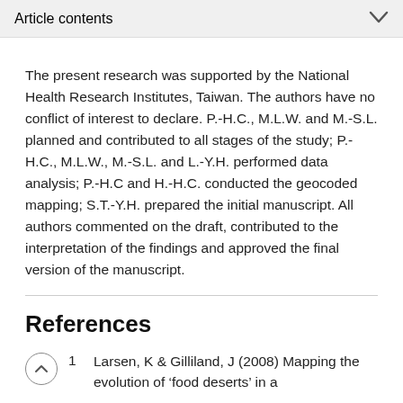Article contents
The present research was supported by the National Health Research Institutes, Taiwan. The authors have no conflict of interest to declare. P.-H.C., M.L.W. and M.-S.L. planned and contributed to all stages of the study; P.-H.C., M.L.W., M.-S.L. and L.-Y.H. performed data analysis; P.-H.C and H.-H.C. conducted the geocoded mapping; S.T.-Y.H. prepared the initial manuscript. All authors commented on the draft, contributed to the interpretation of the findings and approved the final version of the manuscript.
References
1  Larsen, K & Gilliland, J (2008) Mapping the evolution of ‘food deserts’ in a